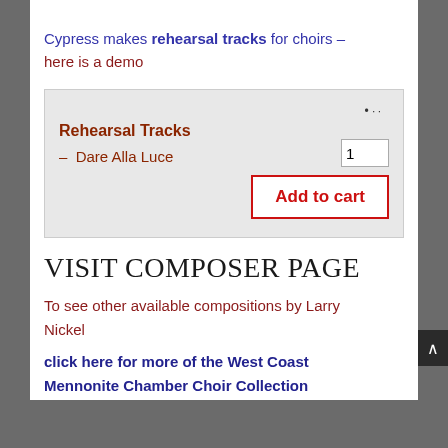Cypress makes rehearsal tracks for choirs – here is a demo
[Figure (screenshot): Product box with 'Rehearsal Tracks' heading, '– Dare Alla Luce' item, quantity input field showing 1, and 'Add to cart' button with red border]
VISIT COMPOSER PAGE
To see other available compositions by Larry Nickel
click here for more of the West Coast Mennonite Chamber Choir Collection